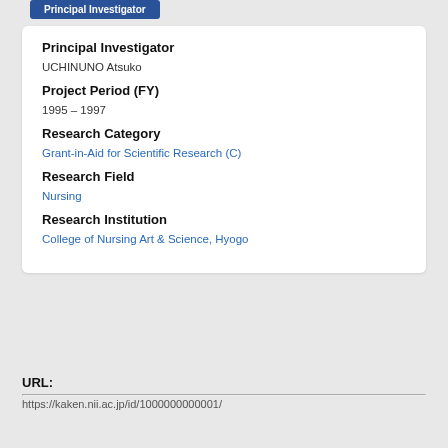Principal Investigator
Principal Investigator
UCHINUNO Atsuko
Project Period (FY)
1995 – 1997
Research Category
Grant-in-Aid for Scientific Research (C)
Research Field
Nursing
Research Institution
College of Nursing Art & Science, Hyogo
URL:
https://kaken.nii.ac.jp/id/1000000000001/